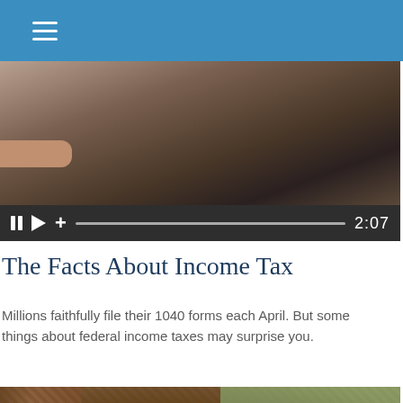Navigation bar with hamburger menu
[Figure (screenshot): Video player showing a hand holding a tablet, with playback controls showing pause, play, volume, a progress bar, and timestamp 2:07]
The Facts About Income Tax
Millions faithfully file their 1040 forms each April. But some things about federal income taxes may surprise you.
[Figure (photo): Close-up photograph of a thick rope knot tied around a tree trunk, with blurred trees in the background]